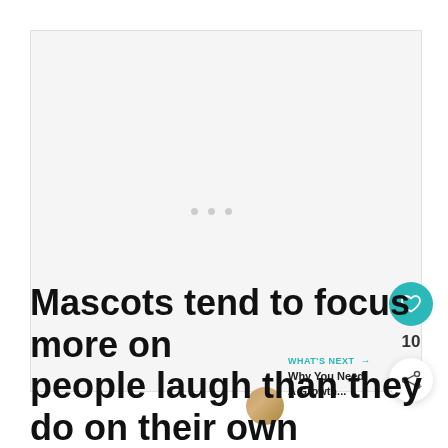[Figure (other): Large blank/light gray content area with three small gray dots in the center, representing a loading placeholder or advertisement area]
[Figure (other): Teal circular heart/like button with white heart icon, like count of 10, and circular share button below]
WHAT'S NEXT → Why You Need A Growth...
Mascots tend to focus more on people laugh than they do on their own